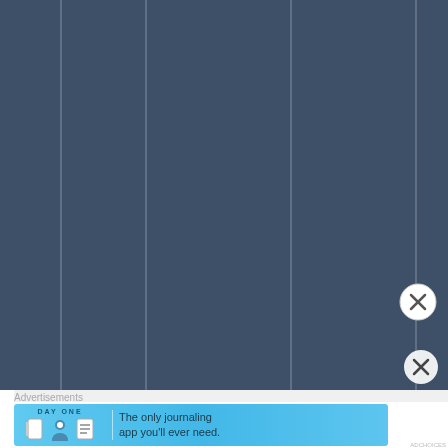[Figure (screenshot): Screenshot of a mobile app or web page with a dark blue-grey background (#3d5068) showing vertical column separators (thin white lines) and rotated text reading 'aha. Nope. Tha' written vertically on the right side in light grey. A close button (X circle) is visible at the bottom right. Below is an advertisement banner for 'Day One' journaling app with light blue background, app icons, and text 'The only journaling app you'll ever need.' An 'Advertisements' label appears above the banner.]